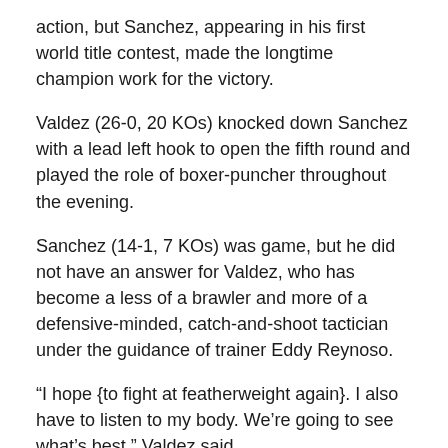action, but Sanchez, appearing in his first world title contest, made the longtime champion work for the victory.
Valdez (26-0, 20 KOs) knocked down Sanchez with a lead left hook to open the fifth round and played the role of boxer-puncher throughout the evening.
Sanchez (14-1, 7 KOs) was game, but he did not have an answer for Valdez, who has become a less of a brawler and more of a defensive-minded, catch-and-shoot tactician under the guidance of trainer Eddy Reynoso.
“I hope {to fight at featherweight again}. I also have to listen to my body. We’re going to see what’s best,” Valdez said. “Sometimes I get tired in there, and I’m not sure if it’s because of the weight loss. We’ll talk about {my next move} as a team and will do what is best. I want to fight everybody at 126, 130. Let’s do it.”
“Sanchez lacked experience, but he showed tremendous guts.